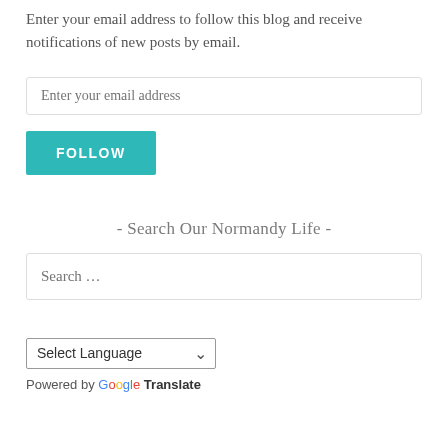Enter your email address to follow this blog and receive notifications of new posts by email.
Enter your email address
FOLLOW
- Search Our Normandy Life -
Search …
Select Language
Powered by Google Translate